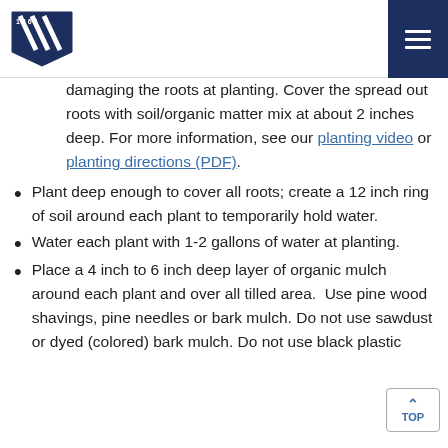The University of Maine
damaging the roots at planting. Cover the spread out roots with soil/organic matter mix at about 2 inches deep. For more information, see our planting video or planting directions (PDF).
Plant deep enough to cover all roots; create a 12 inch ring of soil around each plant to temporarily hold water.
Water each plant with 1-2 gallons of water at planting.
Place a 4 inch to 6 inch deep layer of organic mulch around each plant and over all tilled area.  Use pine wood shavings, pine needles or bark mulch. Do not use sawdust or dyed (colored) bark mulch. Do not use black plastic